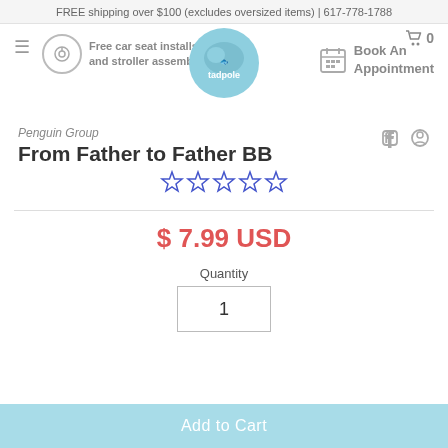FREE shipping over $100 (excludes oversized items) | 617-778-1788
Free car seat installs and stroller assembly
[Figure (logo): Tadpole store logo - circular blue badge with wave design and text 'tadpole']
Book An Appointment
Penguin Group
From Father to Father BB
[Figure (other): 5 empty star rating icons in blue outline]
$ 7.99 USD
Quantity
1
Add to Cart